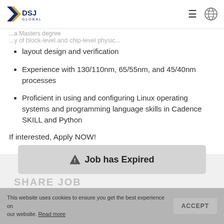[Figure (logo): DSJ Global logo with gold/navy chevron arrow and text DSJ GLOBAL]
layout design and verification
Experience with 130/110nm, 65/55nm, and 45/40nm processes
Proficient in using and configuring Linux operating systems and programming language skills in Cadence SKILL and Python
If interested, Apply NOW!
⚠ Job has Expired
This website uses cookies to ensure you get the best experience on our website. Read more